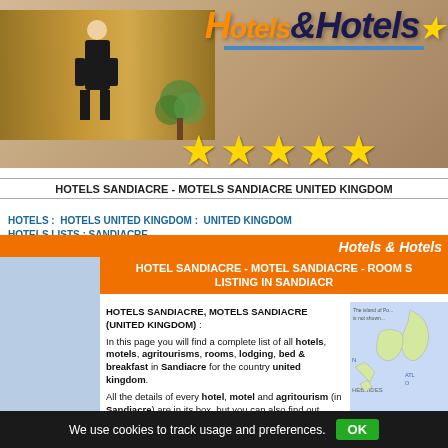[Figure (screenshot): Hotels & Hotels website header with hotel lobby background photo, large star rating logo, and five gold stars]
HOTELS SANDIACRE - MOTELS SANDIACRE UNITED KINGDOM
HOTELS : HOTELS UNITED KINGDOM : UNITED KINGDOM HOTELS LISTS : SANDIACRE
Hotels & Hotels
HOTEL SANDIACRE - MOTEL SANDIACRE - ROOM S... LISTING IN SANDIACR...
HOTELS SANDIACRE, MOTELS SANDIACRE (UNITED KINGDOM) : In this page you will find a complete list of all hotels, motels, agritourisms, rooms, lodging, bed & breakfast in Sandiacre for the country united kingdom. All the details of every hotel, motel and agritourism (in Sandiacre) are in its box, but you can also find out other important informations (like prices ecc.) simply clicking on its link. You can also choose your favorite hotel of Sandiacre (united kingdom) or suggest one
We use cookies to track usage and preferences.